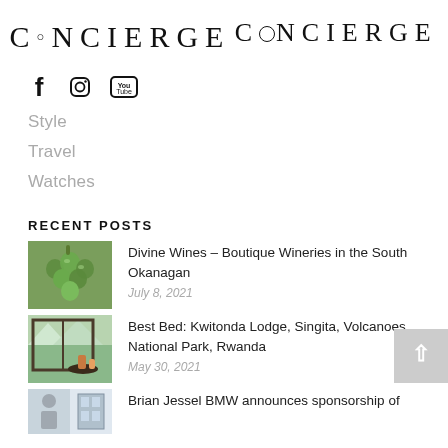CONCIERGE
f  [Instagram icon]  [YouTube icon]
Style
Travel
Watches
RECENT POSTS
[Figure (photo): Close-up photo of green grapes on a vine]
Divine Wines – Boutique Wineries in the South Okanagan
July 8, 2021
[Figure (photo): Photo of a lodge room with a view of mountains and a terrace with drinks]
Best Bed: Kwitonda Lodge, Singita, Volcanoes National Park, Rwanda
May 30, 2021
[Figure (photo): Photo related to Brian Jessel BMW sponsorship article]
Brian Jessel BMW announces sponsorship of